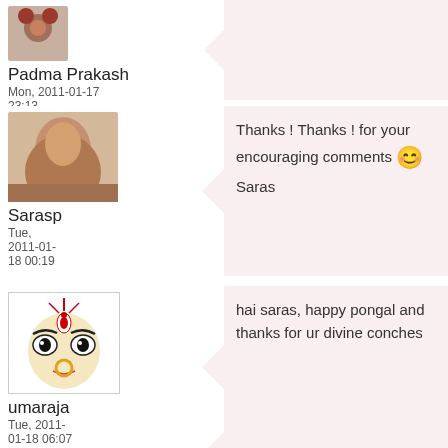[Figure (photo): Small decorative avatar image at top left]
Padma Prakash
Mon, 2011-01-17
23:13
[Figure (photo): Profile photo of a woman (Sarasp)]
Sarasp
Tue,
2011-01-18 00:19
Thanks ! Thanks ! for your encouraging comments 😊
Saras
[Figure (illustration): Goddess face illustration (umaraja avatar)]
umaraja
Tue, 2011-01-18 06:07
hai saras, happy pongal and thanks for ur divine conches
[Figure (photo): Small avatar image at bottom left]
Nice kalam